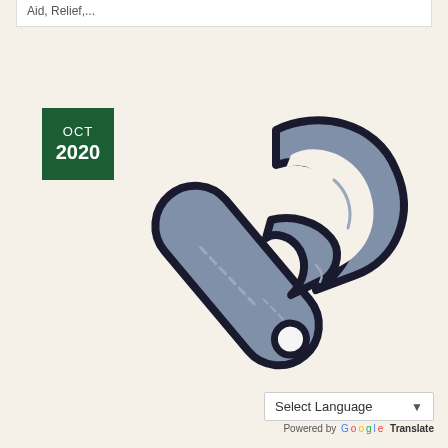Aid, Relief,...
[Figure (illustration): An OCT 2020 date badge (dark green square with white text) alongside a cartoon-style illustration of a wrench/spanner tool in grey-blue tones with black outline.]
Select Language
Powered by Google Translate